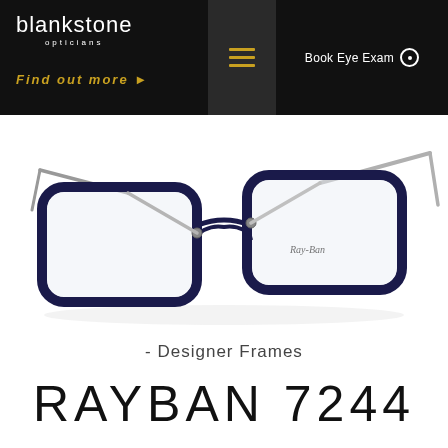[Figure (logo): Blankstone Opticians logo - white text on black background with 'blankstone' in light font and 'opticians' subtext]
Find out more →
Book Eye Exam
[Figure (photo): Ray-Ban 7244 eyeglasses frames - black rectangular front with thin silver metal temples, photographed at an angle on white background. Ray-Ban signature on the lens.]
- Designer Frames
RAYBAN 7244